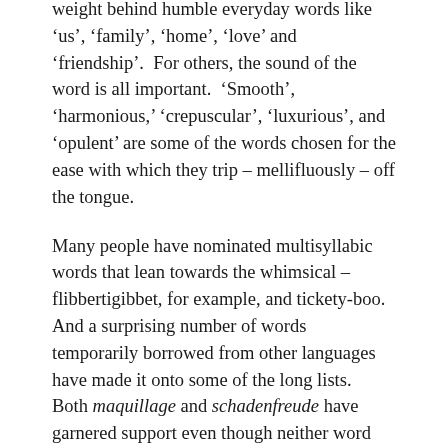weight behind humble everyday words like 'us', 'family', 'home', 'love' and 'friendship'.  For others, the sound of the word is all important.  'Smooth', 'harmonious,' 'crepuscular', 'luxurious', and 'opulent' are some of the words chosen for the ease with which they trip – mellifluously – off the tongue.
Many people have nominated multisyllabic words that lean towards the whimsical – flibbertigibbet, for example, and tickety-boo.  And a surprising number of words temporarily borrowed from other languages have made it onto some of the long lists.  Both maquillage and schadenfreude have garnered support even though neither word has yet been fully adopted into the English language.
In one of the few surveys to reach something of a conclusion, the final shortlist included 'gherkin', 'kerfuffle', 'diphthong', and 'hornswoggle'.  And the